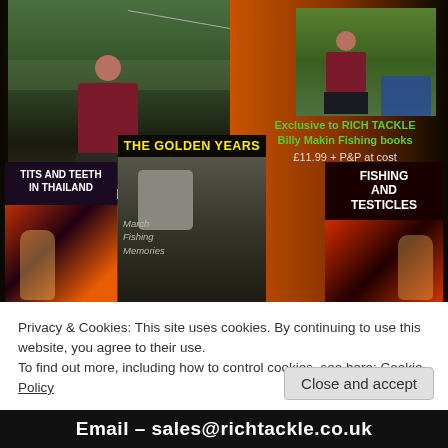[Figure (photo): Website screenshot showing Jamie Rich fishing tackle promotional page with photos of a fisherman in waders by water, seated angler, three book covers (Tits and Teeth in Thailand, The Golden Years - Match Fishing Memories, Fishing and Testicles), text about Billy Makin Fishing books exclusive to Rich Tackle at £11.99 + P&P at cost, and a cookie consent overlay.]
Jamie Rich
Exclusive to RICH TACKLE
Billy Makin Fishing books
£11.99 + P&P at cost
TITS and TEETH in THAILAND
THE GOLDEN YEARS
March Fishing Memories
FISHING and TESTICLES
Privacy & Cookies: This site uses cookies. By continuing to use this website, you agree to their use.
To find out more, including how to control cookies, see here: Cookie Policy
Close and accept
Email – sales@richtackle.co.uk